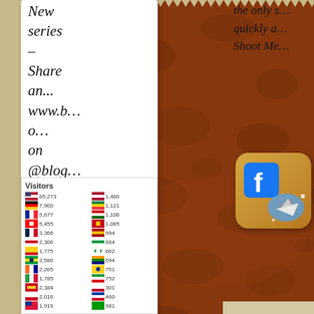[Figure (photo): Brown leather fabric swatch with zigzag/pinking-shear cut left edge, showing detailed leather grain texture]
New series – Share an... www.b…o… on @blog… June 1, 2020 4:26 pm
the only s… quickly a… Shoot Me…
[Figure (screenshot): Facebook app icon combined with a game/plane graphic, rounded square icon style]
Conte…
[Figure (infographic): Visitors stats widget showing country flags and visitor counts]